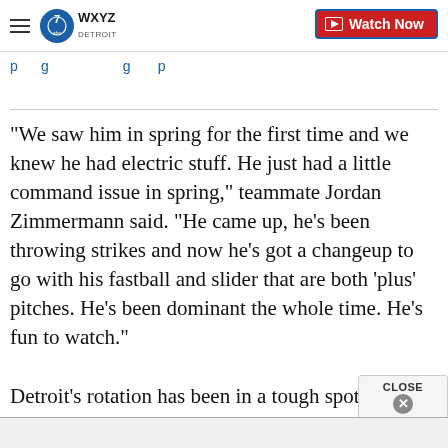WXYZ Detroit — Watch Now
"We saw him in spring for the first time and we knew he had electric stuff. He just had a little command issue in spring," teammate Jordan Zimmermann said. "He came up, he's been throwing strikes and now he's got a changeup to go with his fastball and slider that are both 'plus' pitches. He's been dominant the whole time. He's fun to watch."
Detroit's rotation has been in a tough spot of late